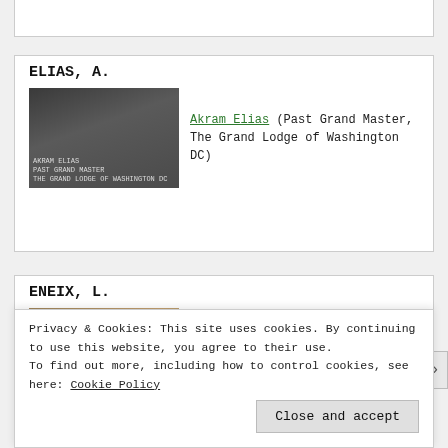[Figure (screenshot): Partial card at top of page (cut off)]
ELIAS, A.
[Figure (photo): Photo of Akram Elias, labeled 'AKRAM ELIAS, Past Grand Master, The Grand Lodge of Washington DC']
Akram Elias (Past Grand Master, The Grand Lodge of Washington DC)
ENEIX, L.
[Figure (photo): Photo of Linda Eneix, labeled 'LINDA ENEIX, Founder, Mediterranean Inst. for Ancient Civilizations']
Linda Eneix (Founder, Mediterranean Inst. for Ancient Civilizations)
Privacy & Cookies: This site uses cookies. By continuing to use this website, you agree to their use. To find out more, including how to control cookies, see here: Cookie Policy
Close and accept